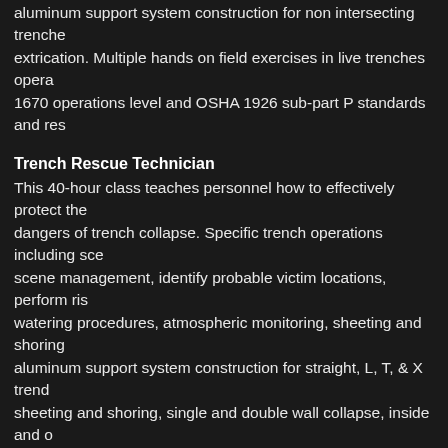aluminum support system construction for non intersecting trenches extrication. Multiple hands on field exercises in live trenches operations 1670 operations level and OSHA 1926 sub-part P standards and response guidelines.
Trench Rescue Technician
This 40-hour class teaches personnel how to effectively protect the dangers of trench collapse. Specific trench operations including scene management, identify probable victim locations, perform risk watering procedures, atmospheric monitoring, sheeting and shoring, aluminum support system construction for straight, L, T, & X trench sheeting and shoring, single and double wall collapse, inside and outside patient packaging and extrication. Multiple hands on field exercises based approach. In accordance with NFPA 1006 and 1670 operations P standards and response guidelines.
Trench Rescue refresher training
We also offer annual refresher training to keep teams in practice and skills, and equipment.